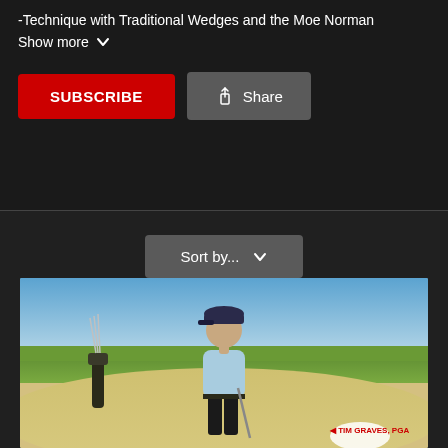-Technique with Traditional Wedges and the Moe Norman
Show more
SUBSCRIBE
Share
Sort by...
[Figure (photo): A man wearing a light blue polo shirt and dark cap stands on a golf course near a sand bunker, holding golf clubs. A golf bag is visible to his left. Lower right corner shows name badge: TIM GRAVES, PGA]